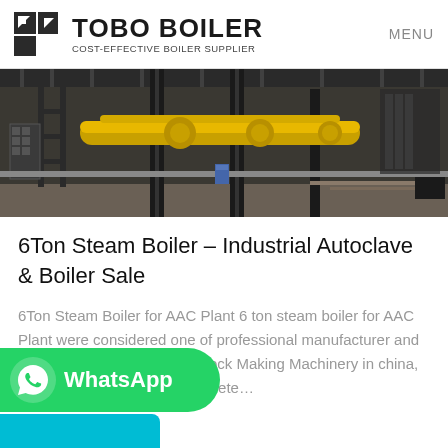TOBO BOILER COST-EFFECTIVE BOILER SUPPLIER | MENU
[Figure (photo): Industrial boiler equipment photo showing pipes, yellow components, and scaffolding in a factory setting]
6Ton Steam Boiler – Industrial Autoclave & Boiler Sale
6Ton Steam Boiler for AAC Plant 6 ton steam boiler for AAC Plant were considered one of professional manufacturer and supplier of Automatic AAC Block Making Machinery in china, and now we can supply complete…
[Figure (logo): WhatsApp button with green background, WhatsApp icon and text 'WhatsApp']